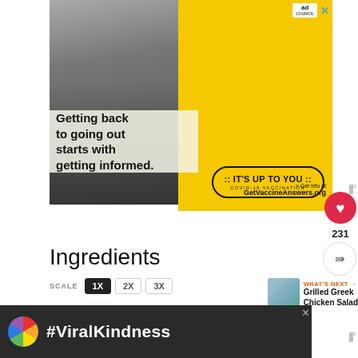[Figure (photo): Ad banner from Ad Council: 'Getting back to going out starts with getting informed.' COVID-19 vaccination campaign. It's Up To You. GetVaccineAnswers.org]
Getting back to going out starts with getting informed.
IT'S UP TO YOU · COVID-19 VACCINATION
> Get info at GetVaccineAnswers.org
Ingredients
SCALE  1X  2X  3X
WHAT'S NEXT → Grilled Greek Chicken Salad
Greek Dressing
[Figure (photo): Bottom advertisement banner: #ViralKindness with a rainbow illustration on dark background]